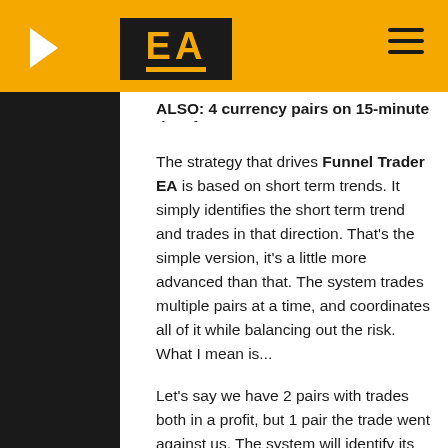EA — Forex Robots
ALSO: 4 currency pairs on 15-minute time frame!
The strategy that drives Funnel Trader EA is based on short term trends. It simply identifies the short term trend and trades in that direction. That's the simple version, it's a little more advanced than that. The system trades multiple pairs at a time, and coordinates all of it while balancing out the risk. What I mean is...
Let's say we have 2 pairs with trades both in a profit, but 1 pair the trade went against us. The system will identify its mistake, close the profit trades and loser while actually profiting.
This adds a nice element of protection plus profit taking!
Funnel Trader EA is NON SCALPER, NON MARTIANGLE, NON HEDGE, NON LATENCY TRADE EA and works with ALL Forex brokers. The recommended capital is $500-$1,000. If you dont have much money you can use micro account. You can